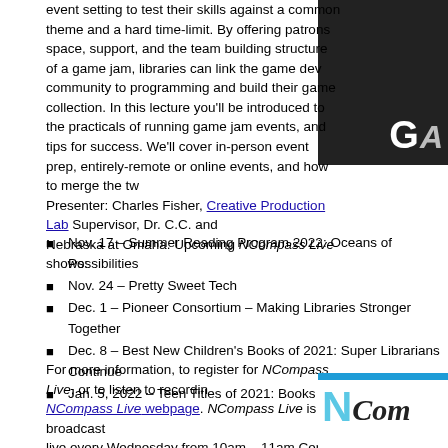event setting to test their skills against a common theme and a hard time-limit. By offering patrons space, support, and the team building structure of a game jam, libraries can link the game dev community to programming and build their game collection. In this lecture you'll be introduced to the practicals of running game jam events, and tips for success. We'll cover in-person event prep, entirely-remote or online events, and how to merge the two. Presenter: Charles Fisher, Creative Production Lab Supervisor, Dr. C.C. and Nebraska at Omaha. Upcoming NCompass Live shows:
[Figure (photo): Dark geometric/polygon background image with partial white letter 'G' visible, game jam themed graphic]
Nov. 17 – Summer Reading Program 2022: Oceans of Possibilities
Nov. 24 – Pretty Sweet Tech
Dec. 1 – Pioneer Consortium – Making Libraries Stronger Together
Dec. 8 – Best New Children's Books of 2021: Super Librarians Continue
Jan. 5, 2022 – Teen Titles of 2021: Books They Will Read
For more information, to register for NCompass Live, or to listen to recordings, visit the NCompass Live webpage. NCompass Live is broadcast live every Wednesday from 10am – 11am Central Time. Convert to your time zone on the Official U.S. Time website. The show is presented online using the GoToWebinar online meeting service. Before you attend a session, please see the NLC Online Sessions webpage for detailed information about GoToWebinar, including system requirements and equipment requirements for computer speakers and microphones.
[Figure (logo): NCompass Live logo with teal N and cursive text, blue bar at top]